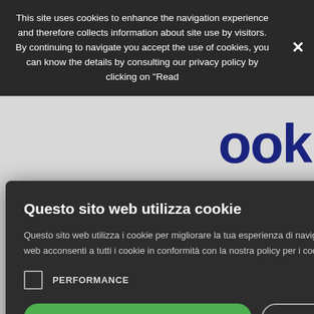This site uses cookies to enhance the navigation experience and therefore collects information about site use by visitors. By continuing to navigate you accept the use of cookies, you can know the details by consulting our privacy policy by clicking on "Read
[Figure (screenshot): Background website content showing partial text 'ook' in large dark blue bold font, two blue letter 'A' characters, 'che' text, and '(TO) - PI' text visible behind the cookie consent modal]
Questo sito web utilizza cookie
Questo sito web utilizza i cookie per migliorare la tua esperienza di navigazione. Utilizzando il nostro sito web acconsenti a tutti i cookie in conformità con la nostra policy per i cookie. Leggi di più
PERFORMANCE
ACCETTA TUTTO
RIFIUTA TUTTO
MOSTRA DETTAGLI